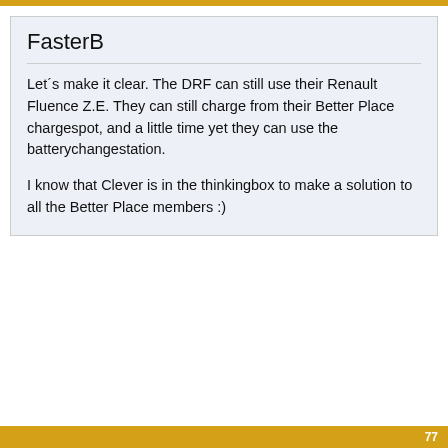FasterB
Let´s make it clear. The DRF can still use their Renault Fluence Z.E. They can still charge from their Better Place chargespot, and a little time yet they can use the batterychangestation.

I know that Clever is in the thinkingbox to make a solution to all the Better Place members :)
77